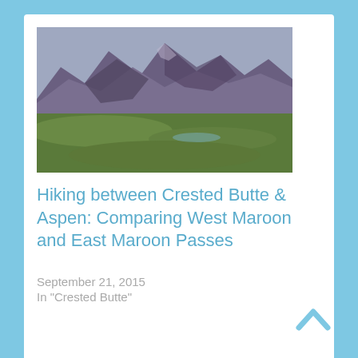[Figure (photo): Mountain landscape with green valley and rugged peaks under overcast sky]
Hiking between Crested Butte & Aspen: Comparing West Maroon and East Maroon Passes
September 21, 2015
In "Crested Butte"